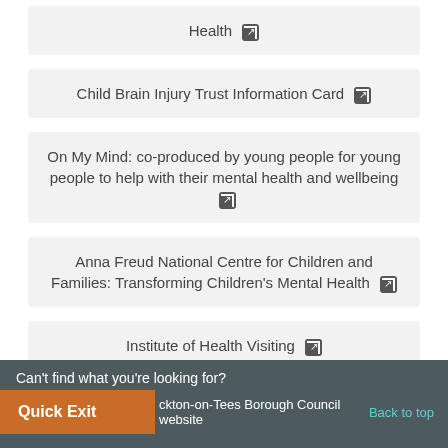Health ↗
Child Brain Injury Trust Information Card ↗
On My Mind: co-produced by young people for young people to help with their mental health and wellbeing ↗
Anna Freud National Centre for Children and Families: Transforming Children's Mental Health ↗
Institute of Health Visiting ↗
0-19 Growing Healthy Facebook Page ↗
Can't find what you're looking for?
Quick Exit | ckton-on-Tees Borough Council website | Back to top